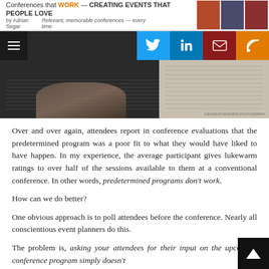Conferences that WORK — CREATING EVENTS THAT PEOPLE LOVE by Adrian Segar. Relevant, memorable conferences — every time
[Figure (screenshot): Website header with social media icons (Twitter, LinkedIn, Email, RSS) and hero image showing hands with documents]
Over and over again, attendees report in conference evaluations that the predetermined program was a poor fit to what they would have liked to have happen. In my experience, the average participant gives lukewarm ratings to over half of the sessions available to them at a conventional conference. In other words, predetermined programs don't work.
How can we do better?
One obvious approach is to poll attendees before the conference. Nearly all conscientious event planners do this.
The problem is, asking your attendees for their input on the upcoming conference program simply doesn't work off. How to do better...